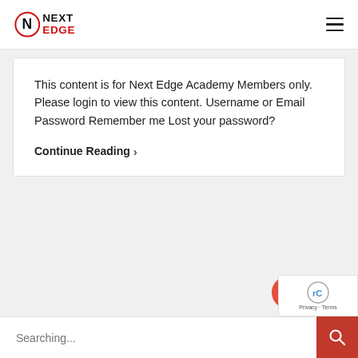[Figure (logo): Next Edge Academy logo with N in red circle and NEXT EDGE text]
This content is for Next Edge Academy Members only. Please login to view this content. Username or Email Password Remember me Lost your password?
Continue Reading >
Searching...